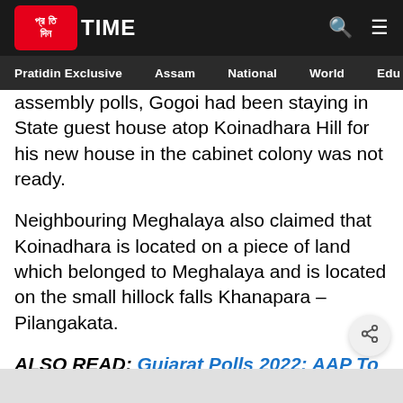Pratidin TIME — Pratidin Exclusive | Assam | National | World | Edu
assembly polls, Gogoi had been staying in State guest house atop Koinadhara Hill for his new house in the cabinet colony was not ready.
Neighbouring Meghalaya also claimed that Koinadhara is located on a piece of land which belonged to Meghalaya and is located on the small hillock falls Khanapara –Pilangakata.
ALSO READ: Gujarat Polls 2022: AAP To Contest In All Seats